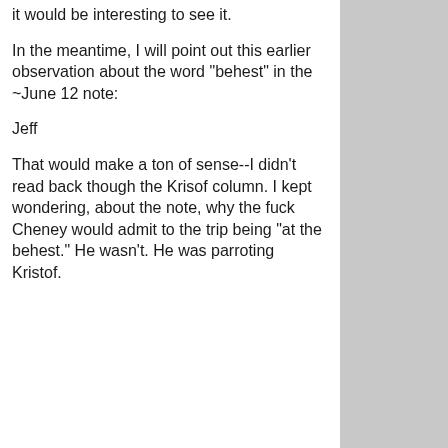it would be interesting to see it.
In the meantime, I will point out this earlier observation about the word "behest" in the ~June 12 note:
Jeff
That would make a ton of sense--I didn't read back though the Krisof column. I kept wondering, about the note, why the fuck Cheney would admit to the trip being "at the behest." He wasn't. He was parroting Kristof.